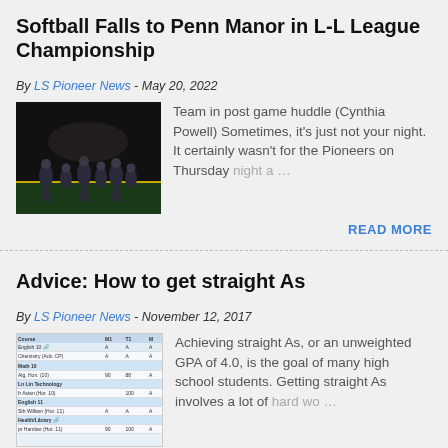Softball Falls to Penn Manor in L-L League Championship
By LS Pioneer News - May 20, 2022
[Figure (photo): Sports team in post game huddle at night on a field]
Team in post game huddle (Cynthia Powell) Sometimes, it's just not your night. It certainly wasn't for the Pioneers on Thursday night a…
READ MORE
Advice: How to get straight As
By LS Pioneer News - November 12, 2017
[Figure (table-as-image): Screenshot of a sports scores or grades table]
Achieving straight As, or an unweighted GPA of 4.0, is the goal of many high school students. Getting straight As involves a lot of hard wo…
READ MORE